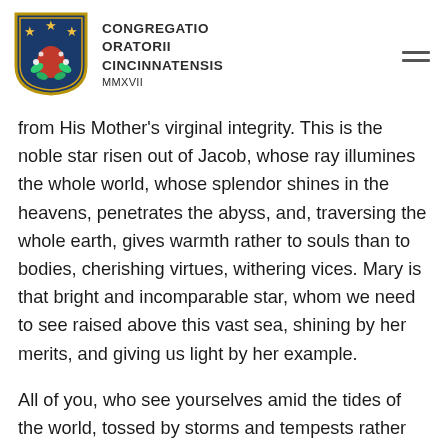CONGREGATIO ORATORII CINCINNATENSIS MMXVII
from His Mother's virginal integrity. This is the noble star risen out of Jacob, whose ray illumines the whole world, whose splendor shines in the heavens, penetrates the abyss, and, traversing the whole earth, gives warmth rather to souls than to bodies, cherishing virtues, withering vices. Mary is that bright and incomparable star, whom we need to see raised above this vast sea, shining by her merits, and giving us light by her example.
All of you, who see yourselves amid the tides of the world, tossed by storms and tempests rather than